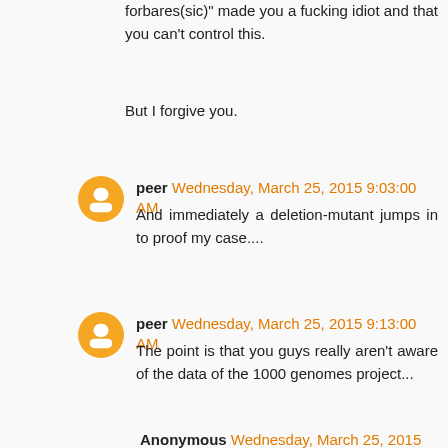forbares(sic)" made you a fucking idiot and that you can't control this.
But I forgive you.
peer Wednesday, March 25, 2015 9:03:00 AM
And immediately a deletion-mutant jumps in to proof my case....
peer Wednesday, March 25, 2015 9:13:00 AM
The point is that you guys really aren't aware of the data of the 1000 genomes project...
Anonymous Wednesday, March 25, 2015 10:18:00 AM
"The point is that you guys really aren't aware of the data of the 1000 genomes project..."